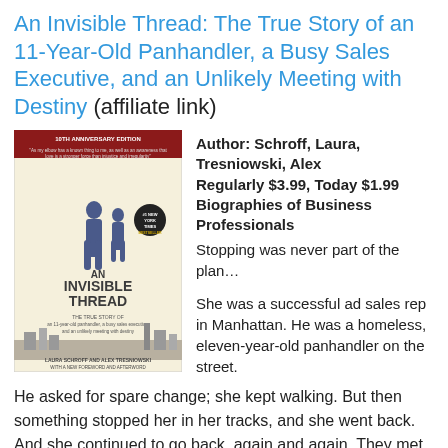An Invisible Thread: The True Story of an 11-Year-Old Panhandler, a Busy Sales Executive, and an Unlikely Meeting with Destiny (affiliate link)
[Figure (photo): Book cover of 'An Invisible Thread' by Laura Schroff and Alex Tresniowski. 10th Anniversary Edition. Shows silhouettes of two people walking. Subtitle: The True Story of an 11-year-old panhandler, a busy sales executive, and an unlikely meeting with destiny.]
Author: Schroff, Laura, Tresniowski, Alex
Regularly $3.99, Today $1.99
Biographies of Business Professionals
Stopping was never part of the plan…
She was a successful ad sales rep in Manhattan. He was a homeless, eleven-year-old panhandler on the street. He asked for spare change; she kept walking. But then something stopped her in her tracks, and she went back. And she continued to go back, again and again. They met up nearly every week for years and built an